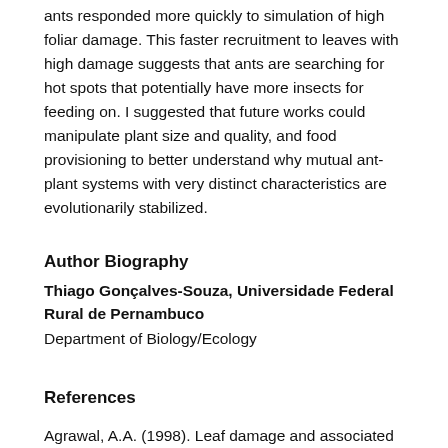ants responded more quickly to simulation of high foliar damage. This faster recruitment to leaves with high damage suggests that ants are searching for hot spots that potentially have more insects for feeding on. I suggested that future works could manipulate plant size and quality, and food provisioning to better understand why mutual ant-plant systems with very distinct characteristics are evolutionarily stabilized.
Author Biography
Thiago Gonçalves-Souza, Universidade Federal Rural de Pernambuco
Department of Biology/Ecology
References
Agrawal, A.A. (1998). Leaf damage and associated cues induce aggressive ant recruitment in a Neotropical ant-plant.